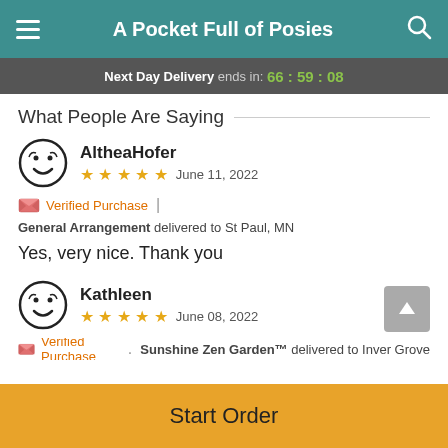A Pocket Full of Posies
Next Day Delivery ends in: 66:59:08
What People Are Saying
AltheaHofer — ★★★★★ — June 11, 2022
Verified Purchase | General Arrangement delivered to St Paul, MN
Yes, very nice. Thank you
Kathleen — ★★★★★ — June 08, 2022
Verified Purchase | Sunshine Zen Garden™ delivered to Inver Grove